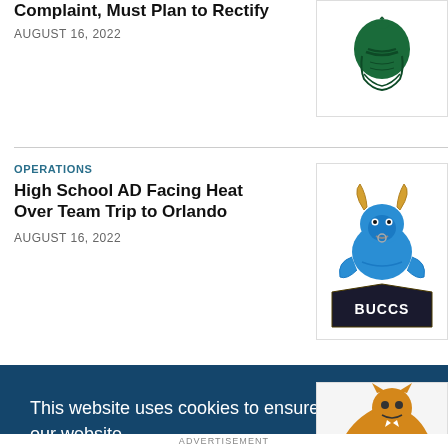Complaint, Must Plan to Rectify
AUGUST 16, 2022
[Figure (logo): Michigan State Spartans green helmet logo]
OPERATIONS
High School AD Facing Heat Over Team Trip to Orlando
AUGUST 16, 2022
[Figure (logo): Blue bull Buccs mascot logo]
This website uses cookies to ensure you get the best experience on our website.
Learn more
Got it!
[Figure (logo): Wildcat mascot logo partially visible]
ADVERTISEMENT